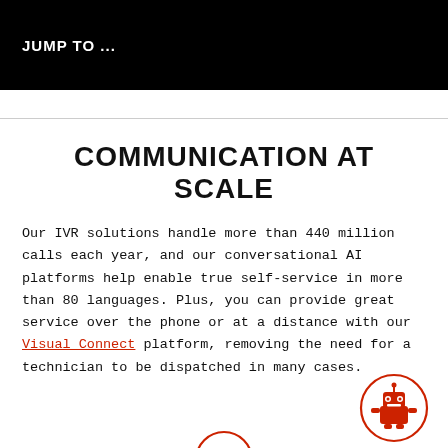JUMP TO ...
COMMUNICATION AT SCALE
Our IVR solutions handle more than 440 million calls each year, and our conversational AI platforms help enable true self-service in more than 80 languages. Plus, you can provide great service over the phone or at a distance with our Visual Connect platform, removing the need for a technician to be dispatched in many cases.
[Figure (illustration): Red robot icon inside a red circle outline, positioned bottom right]
[Figure (illustration): Partial red circle visible at bottom center of page]